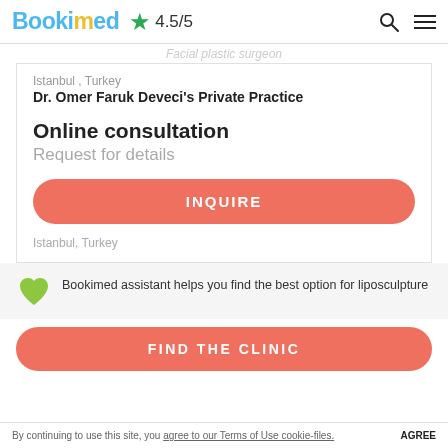Bookimed ★ 4.5/5
Facial plastic surgeon
Istanbul , Turkey
Dr. Omer Faruk Deveci's Private Practice
Online consultation
Request for details
INQUIRE
Istanbul, Turkey
Bookimed assistant helps you find the best option for liposculpture
FIND THE CLINIC
By continuing to use this site, you agree to our Terms of Use cookie-files. AGREE